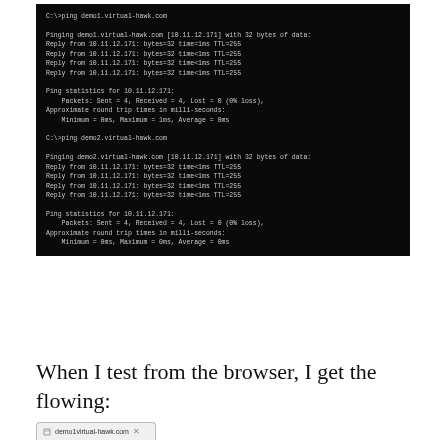[Figure (screenshot): Terminal/command prompt window showing two ping commands to demo1.virtual-hawk.com and demo2.virtual-hawk.com, both resolving to 10.11.12.171 with 32 bytes of data, 4 packets sent and received, 0% loss, and round trip times near 0-1ms.]
When I test from the browser, I get the flowing:
[Figure (screenshot): Browser tab showing demo1virtual-hawk.com with a close button]